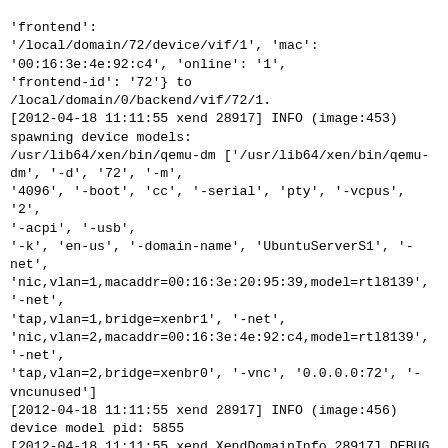'frontend':
'/local/domain/72/device/vif/1', 'mac':
'00:16:3e:4e:92:c4', 'online': '1',
'frontend-id': '72'} to
/local/domain/0/backend/vif/72/1.
[2012-04-18 11:11:55 xend 28917] INFO (image:453)
spawning device models:
/usr/lib64/xen/bin/qemu-dm ['/usr/lib64/xen/bin/qemu-dm', '-d', '72', '-m',
'4096', '-boot', 'cc', '-serial', 'pty', '-vcpus', '2',
'-acpi', '-usb',
'-k', 'en-us', '-domain-name', 'UbuntuServerS1', '-net',
'nic,vlan=1,macaddr=00:16:3e:20:95:39,model=rtl8139',
'-net',
'tap,vlan=1,bridge=xenbr1', '-net',
'nic,vlan=2,macaddr=00:16:3e:4e:92:c4,model=rtl8139',
'-net',
'tap,vlan=2,bridge=xenbr0', '-vnc', '0.0.0.0:72', '-vncunused']
[2012-04-18 11:11:55 xend 28917] INFO (image:456)
device model pid: 5855
[2012-04-18 11:11:55 xend.XendDomainInfo 28917] DEBUG
(XendDomainInfo:1072)
Storing VM details: {'shadow_memory': '34', 'uuid':
'dcc3a34e-b9d2-4b63-b169-cfa9213330e0', 'on_reboot':
'destroy',
'start_time': '1334761915.42', 'on_poweroff':
'destroy', 'name':
'UbuntuServerS1', 'xend/restart_count': '0', 'vcpus':